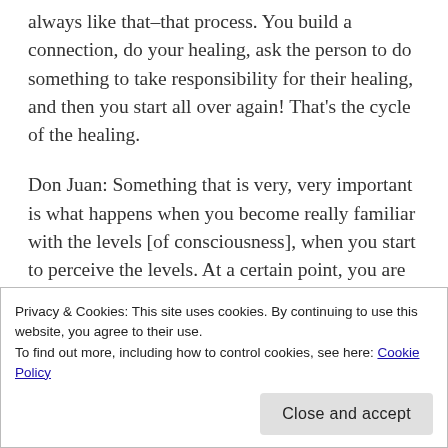always like that–that process. You build a connection, do your healing, ask the person to do something to take responsibility for their healing, and then you start all over again! That's the cycle of the healing.
Don Juan: Something that is very, very important is what happens when you become really familiar with the levels [of consciousness], when you start to perceive the levels. At a certain point, you are going to perceive what is first-, second-, third-, fourth-level person. This is an important teaching of my master
Privacy & Cookies: This site uses cookies. By continuing to use this website, you agree to their use.
To find out more, including how to control cookies, see here: Cookie Policy